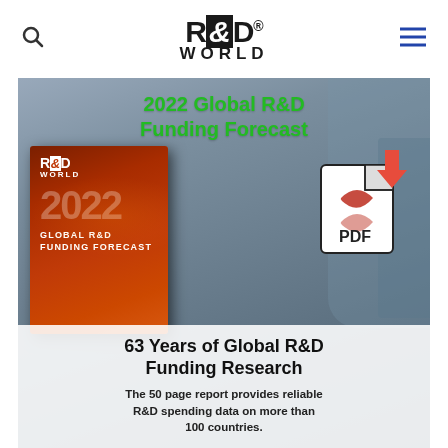R&D WORLD
[Figure (illustration): R&D World website screenshot showing 2022 Global R&D Funding Forecast banner with book cover image, PDF download icon, and text overlay]
2022 Global R&D Funding Forecast
63 Years of Global R&D Funding Research
The 50 page report provides reliable R&D spending data on more than 100 countries.